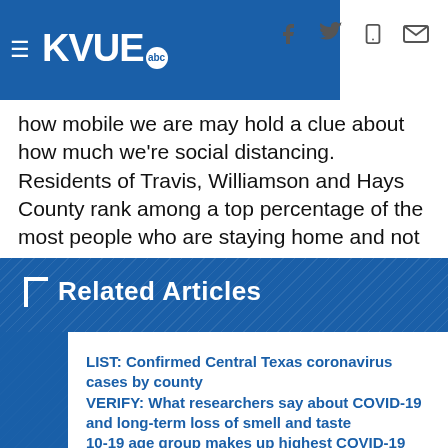KVUE abc
how mobile we are may hold a clue about how much we're social distancing. Residents of Travis, Williamson and Hays County rank among a top percentage of the most people who are staying home and not getting out as much as their counterparts in other parts of Texas.
Related Articles
LIST: Confirmed Central Texas coronavirus cases by county
VERIFY: What researchers say about COVID-19 and long-term loss of smell and taste
10-19 age group makes up highest COVID-19 positivity rate during past 2 weeks in Austin, health authority says